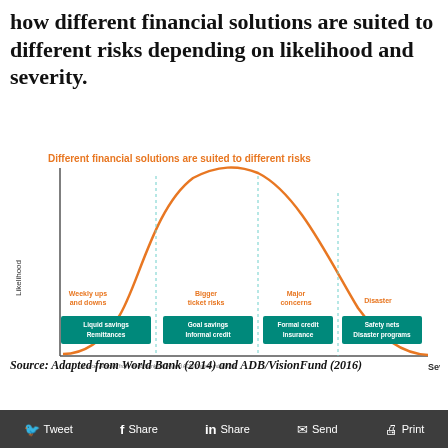how different financial solutions are suited to different risks depending on likelihood and severity.
[Figure (continuous-plot): A bell-curve style distribution showing how different financial solutions suit different risks. The x-axis is Severity and y-axis is Likelihood. Four regions are marked with teal boxes: 'Weekly ups and downs' -> 'Liquid savings / Remittances'; 'Bigger ticket risks' -> 'Goal savings / Informal credit'; 'Major concerns' -> 'Formal credit / Insurance'; 'Disaster' -> 'Safety nets / Disaster programs'.]
Source: Adapted from World Bank (2014) and ADB/VisionFund (2016)
Tweet  Share  Share  Send  Print